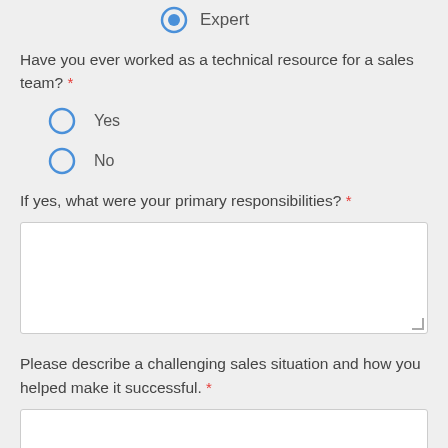Expert
Have you ever worked as a technical resource for a sales team? *
Yes
No
If yes, what were your primary responsibilities? *
Please describe a challenging sales situation and how you helped make it successful. *